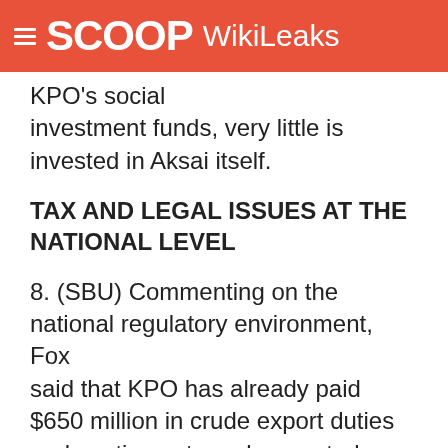SCOOP WikiLeaks
KPO's social investment funds, very little is invested in Aksai itself.
TAX AND LEGAL ISSUES AT THE NATIONAL LEVEL
8. (SBU) Commenting on the national regulatory environment, Fox said that KPO has already paid $650 million in crude export duties and continues to make quarterly payments -- "under duress," he emphasized (see reftel B). As for the new Tax Code, which will become effective January 1, 2009, Fox said that the new